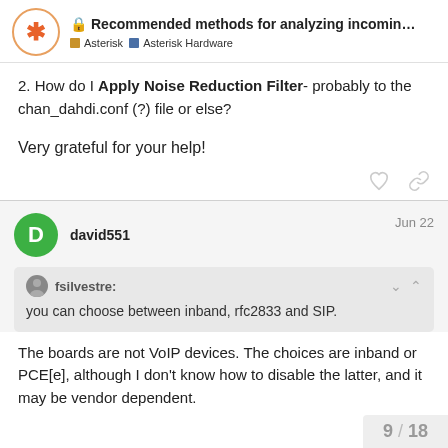Recommended methods for analyzing incomin... | Asterisk | Asterisk Hardware
2. How do I Apply Noise Reduction Filter- probably to the chan_dahdi.conf (?) file or else?
Very grateful for your help!
david551 Jun 22
fsilvestre: you can choose between inband, rfc2833 and SIP.
The boards are not VoIP devices. The choices are inband or PCE[e], although I don't know how to disable the latter, and it may be vendor dependent.
9 / 18